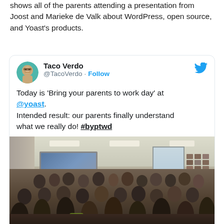shows all of the parents attending a presentation from Joost and Marieke de Valk about WordPress, open source, and Yoast's products.
Taco Verdo
@TacoVerdo · Follow

Today is 'Bring your parents to work day' at @yoast.
Intended result: our parents finally understand what we really do! #byptwd
[Figure (photo): A room full of seated people (parents) attending a presentation. A presenter stands at the front near a projected screen showing a colorful slide. The room has white walls and ceiling lights. On the right side there is a grid of photos on the wall.]